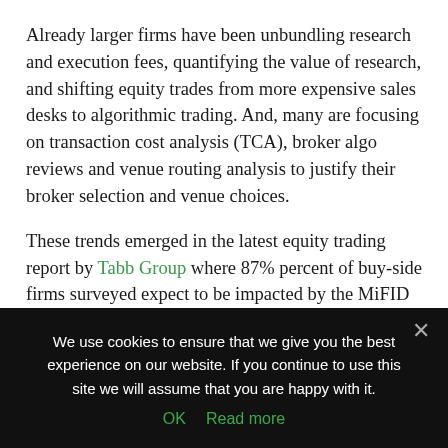Already larger firms have been unbundling research and execution fees, quantifying the value of research, and shifting equity trades from more expensive sales desks to algorithmic trading. And, many are focusing on transaction cost analysis (TCA), broker algo reviews and venue routing analysis to justify their broker selection and venue choices.
These trends emerged in the latest equity trading report by Tabb Group where 87% percent of buy-side firms surveyed expect to be impacted by the MiFID II regulation either directly or indirectly — a significant increase above the 76% who felt this way in 2017 and 68% in 2016.
We use cookies to ensure that we give you the best experience on our website. If you continue to use this site we will assume that you are happy with it.
OK  Read more